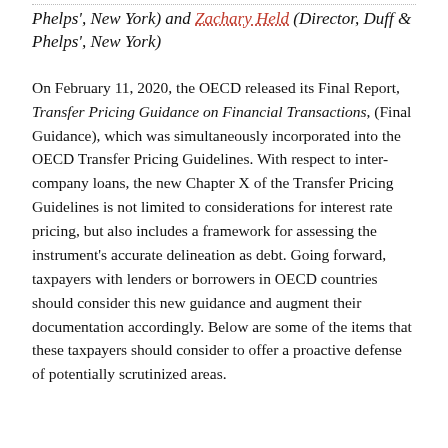Phelps', New York) and Zachary Held (Director, Duff & Phelps', New York)
On February 11, 2020, the OECD released its Final Report, Transfer Pricing Guidance on Financial Transactions, (Final Guidance), which was simultaneously incorporated into the OECD Transfer Pricing Guidelines. With respect to inter-company loans, the new Chapter X of the Transfer Pricing Guidelines is not limited to considerations for interest rate pricing, but also includes a framework for assessing the instrument's accurate delineation as debt. Going forward, taxpayers with lenders or borrowers in OECD countries should consider this new guidance and augment their documentation accordingly. Below are some of the items that these taxpayers should consider to offer a proactive defense of potentially scrutinized areas.